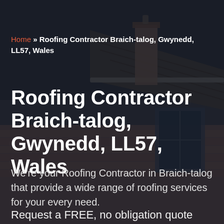[Figure (photo): Background photo of a rooftop with brick chimney, guttering, and a window visible against a dark overcast sky.]
Home » Roofing Contractor Braich-talog, Gwynedd, LL57, Wales
Roofing Contractor Braich-talog, Gwynedd, LL57, Wales
We're your Roofing Contractor in Braich-talog that provide a wide range of roofing services for your every need.
Request a FREE, no obligation quote